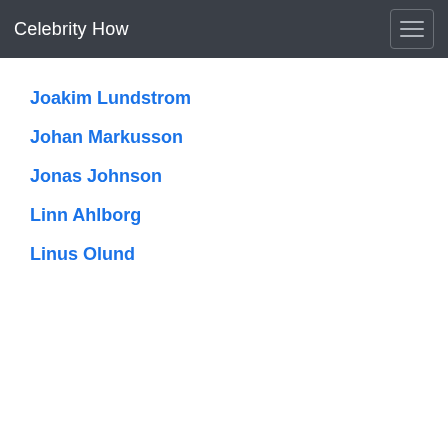Celebrity How
Joakim Lundstrom
Johan Markusson
Jonas Johnson
Linn Ahlborg
Linus Olund